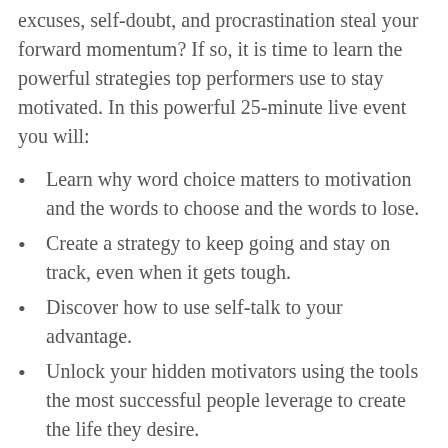excuses, self-doubt, and procrastination steal your forward momentum? If so, it is time to learn the powerful strategies top performers use to stay motivated. In this powerful 25-minute live event you will:
Learn why word choice matters to motivation and the words to choose and the words to lose.
Create a strategy to keep going and stay on track, even when it gets tough.
Discover how to use self-talk to your advantage.
Unlock your hidden motivators using the tools the most successful people leverage to create the life they desire.
Maintaining momentum and motivation is